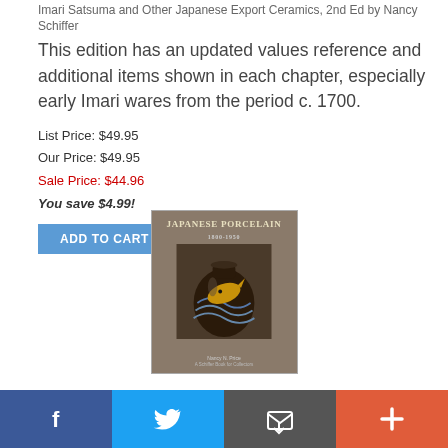Imari Satsuma and Other Japanese Export Ceramics, 2nd Ed by Nancy Schiffer
This edition has an updated values reference and additional items shown in each chapter, especially early Imari wares from the period c. 1700.
List Price: $49.95
Our Price: $49.95
Sale Price: $44.96
You save $4.99!
ADD TO CART
[Figure (photo): Book cover of Japanese Porcelain 1800-1950, 2nd Ed by Nancy Schiffer, showing a dark vase with golden fish decoration]
Japanese Porcelain 1800-1950, 2nd Ed by Nancy Schiffer
This edition has an updated values reference and additional items for off...
f  [Twitter bird]  [Email icon]  +